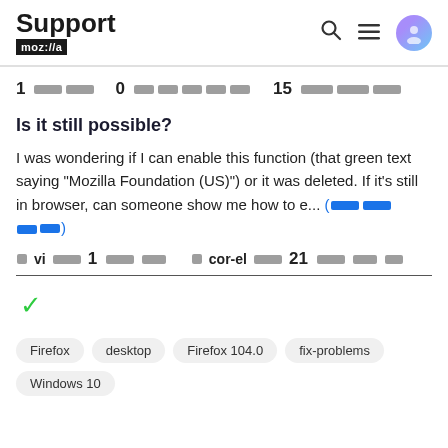Support mozilla // [search] [menu] [user icon]
1 [blocks] 0 [blocks] 15 [blocks]
Is it still possible?
I was wondering if I can enable this function (that green text saying "Mozilla Foundation (US)") or it was deleted. If it's still in browser, can someone show me how to e... (more)
vi 1 [blocks] cor-el 21 [blocks]
[checkmark]
Firefox
desktop
Firefox 104.0
fix-problems
Windows 10